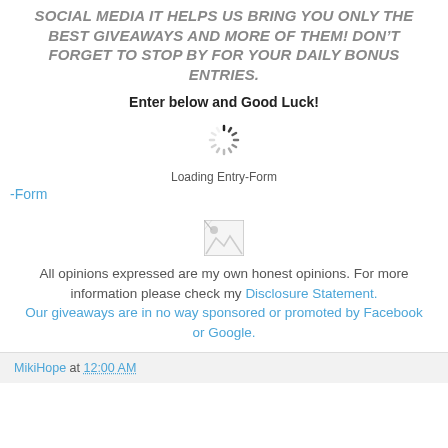SOCIAL MEDIA IT HELPS US BRING YOU ONLY THE BEST GIVEAWAYS AND MORE OF THEM! DON’T FORGET TO STOP BY FOR YOUR DAILY BONUS ENTRIES.
Enter below and Good Luck!
[Figure (other): Spinning loading indicator (spinner animation icon)]
Loading Entry-Form
-Form
[Figure (other): Broken image placeholder icon]
All opinions expressed are my own honest opinions. For more information please check my Disclosure Statement. Our giveaways are in no way sponsored or promoted by Facebook or Google.
MikiHope at 12:00 AM